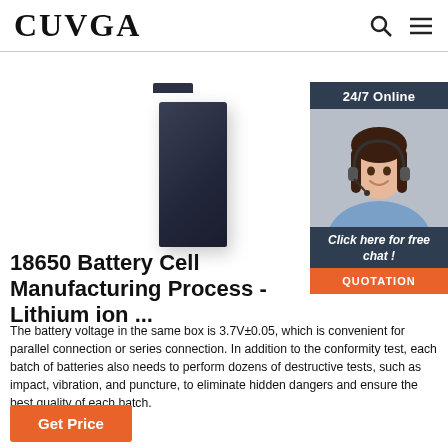CUVGA
[Figure (photo): Dark navy/black rectangular battery cell product photo on white background, with a 24/7 Online customer service chat widget overlay on the right showing a woman with a headset, a 'Click here for free chat!' call to action, and a QUOTATION button.]
18650 Battery Cell Manufacturing Process - Lithium ion ...
The battery voltage in the same box is 3.7V±0.05, which is convenient for parallel connection or series connection. In addition to the conformity test, each batch of batteries also needs to perform dozens of destructive tests, such as impact, vibration, and puncture, to eliminate hidden dangers and ensure the best quality of each batch.
Get Price